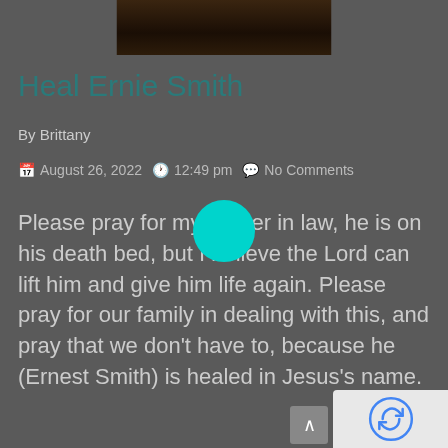[Figure (photo): Dark photograph showing a silhouette of a person praying, partially visible at the top of the page]
Heal Ernie Smith
By Brittany
August 26, 2022   12:49 pm   No Comments
Please pray for my Father in law, he is on his death bed, but I believe the Lord can lift him and give him life again. Please pray for our family in dealing with this, and pray that we don't have to, because he (Ernest Smith) is healed in Jesus's name.